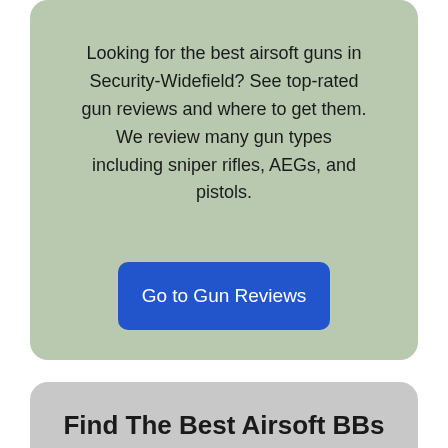Looking for the best airsoft guns in Security-Widefield? See top-rated gun reviews and where to get them. We review many gun types including sniper rifles, AEGs, and pistols.
Go to Gun Reviews
Find The Best Airsoft BBs And Gun Ammo